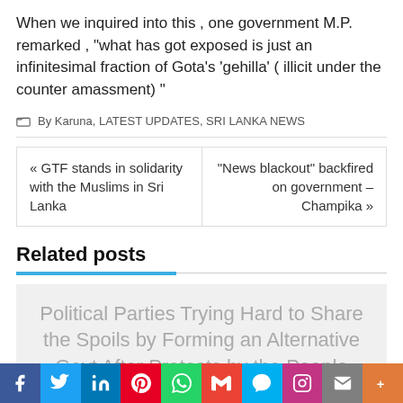When we inquired into this , one government M.P. remarked , “what has got exposed is just an infinitesimal fraction of Gota’s ‘gehilla’ ( illicit under the counter amassment) ”
By Karuna, LATEST UPDATES, SRI LANKA NEWS
« GTF stands in solidarity with the Muslims in Sri Lanka
“News blackout” backfired on government – Champika »
Related posts
Political Parties Trying Hard to Share the Spoils by Forming an Alternative Govt After Protests by the People